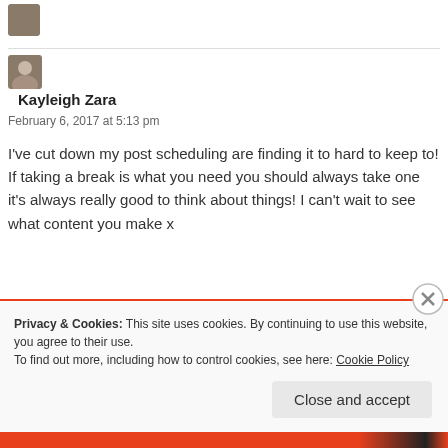[Figure (photo): Small avatar/thumbnail image placeholder at top left]
Kayleigh Zara
February 6, 2017 at 5:13 pm
I've cut down my post scheduling are finding it to hard to keep to! If taking a break is what you need you should always take one it's always really good to think about things! I can't wait to see what content you make x
Privacy & Cookies: This site uses cookies. By continuing to use this website, you agree to their use.
To find out more, including how to control cookies, see here: Cookie Policy
Close and accept